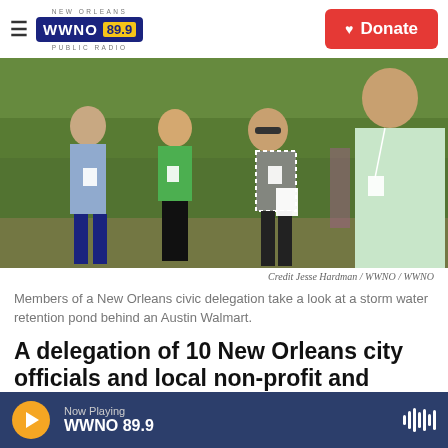NEW ORLEANS WWNO 89.9 PUBLIC RADIO | Donate
[Figure (photo): Members of a New Orleans civic delegation standing outdoors near a storm water retention pond behind an Austin Walmart. Four people are visible, some holding papers, with green outdoor background.]
Credit Jesse Hardman / WWNO / WWNO
Members of a New Orleans civic delegation take a look at a storm water retention pond behind an Austin Walmart.
A delegation of 10 New Orleans city officials and local non-profit and foundation leaders look on as
Now Playing WWNO 89.9